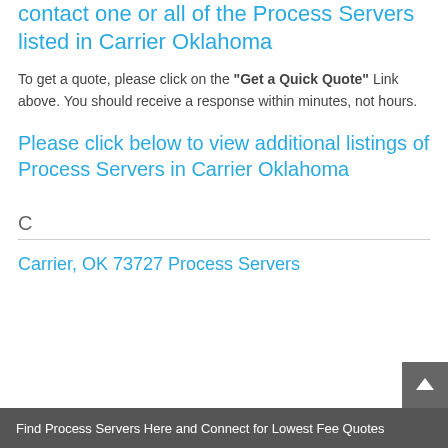contact one or all of the Process Servers listed in Carrier Oklahoma
To get a quote, please click on the "Get a Quick Quote" Link above. You should receive a response within minutes, not hours.
Please click below to view additional listings of Process Servers in Carrier Oklahoma
C
Carrier, OK 73727 Process Servers
Find Process Servers Here and Connect for Lowest Fee Quotes